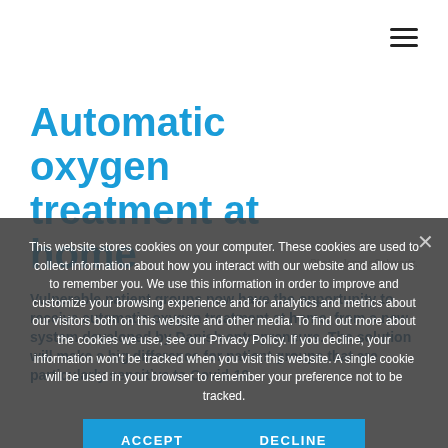[Figure (other): Hamburger menu icon (three horizontal lines) in top right corner]
Automatic oxygen treatment at home
Photo: Jesper Schwartz.
Vulnerable patient groups now have the opportunity to receive automatic oxygen treatment at home, from a new system developed by Danish entrepreneurs. The solution will make a big difference for patient groups that are particularly sensitive to Covid-19.
This website stores cookies on your computer. These cookies are used to collect information about how you interact with our website and allow us to remember you. We use this information in order to improve and customize your browsing experience and for analytics and metrics about our visitors both on this website and other media. To find out more about the cookies we use, see our Privacy Policy. If you decline, your information won't be tracked when you visit this website. A single cookie will be used in your browser to remember your preference not to be tracked.